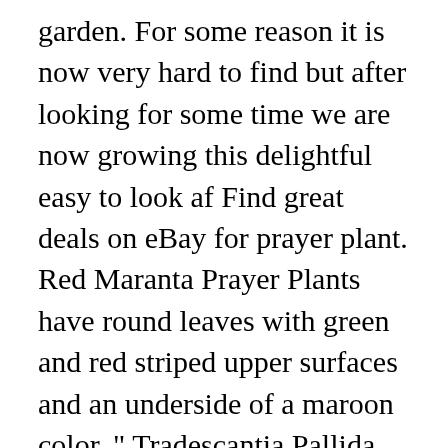garden. For some reason it is now very hard to find but after looking for some time we are now growing this delightful easy to look af Find great deals on eBay for prayer plant. Red Maranta Prayer Plants have round leaves with green and red striped upper surfaces and an underside of a maroon color. " Tradescantia Pallida Blue Sue will produce a small pink/purple flower in full sun. Your recently viewed items and featured recommendations, Select the department you want to search in, Price and other details may vary based on size and color, Roman Exclusive Terrace Garden Stone with a Tree and Verse, 12.2-Inch, 2-Tone Dolomite/Resin, Rose of Jericho Flower The